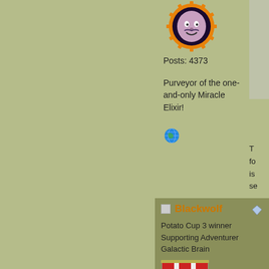[Figure (illustration): Forum avatar icon showing a stylized face with gear/cog border in purple and orange]
Posts: 4373
Purveyor of the one-and-only Miracle Elixir!
[Figure (illustration): Small globe/world icon]
Blackwolf
Potato Cup 3 winner
Supporting Adventurer
Galactic Brain
[Figure (illustration): Red and white ribbon/medal badge]
[Figure (illustration): Gold star badge]
[Figure (illustration): Orange shield badge with cat/wolf face icon]